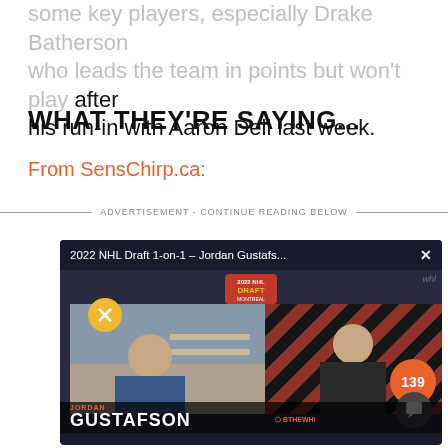some key players, especially Drake Batherson who leads the team in points but won't play after his run-in with Aaron Dell last week.
WHAT THEY'RE SAYING...
From SensChirp.ca:
ADVERTISEMENT - CONTINUE READING BELOW
[Figure (screenshot): Embedded video player showing '2022 NHL Draft 1-on-1 – Jordan Gustafs...' with two panels: left panel showing a young man (Jordan Gustafson) and right panel showing another person against a patterned background. Name bar reads 'GUSTAFSON'. Orange comment badge shows 139. Mute button visible.]